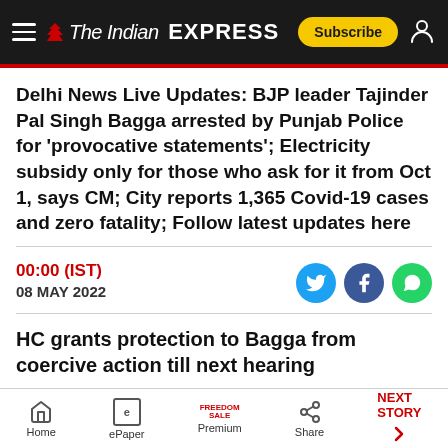The Indian Express
Delhi News Live Updates: BJP leader Tajinder Pal Singh Bagga arrested by Punjab Police for 'provocative statements'; Electricity subsidy only for those who ask for it from Oct 1, says CM; City reports 1,365 Covid-19 cases and zero fatality; Follow latest updates here
00:00 (IST)
08 MAY 2022
HC grants protection to Bagga from coercive action till next hearing
Home | ePaper | Premium | Share | NEXT STORY